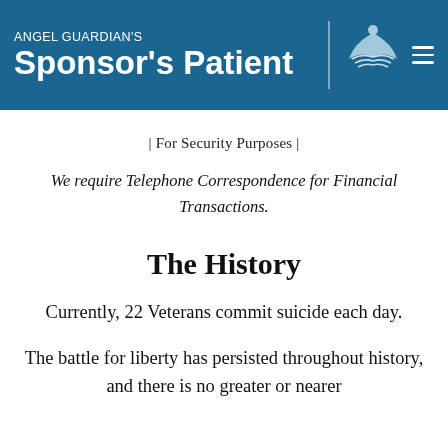ANGEL GUARDIAN'S Patient
| For Security Purposes |
We require Telephone Correspondence for Financial Transactions.
The History
Currently, 22 Veterans commit suicide each day.
The battle for liberty has persisted throughout history, and there is no greater or nearer